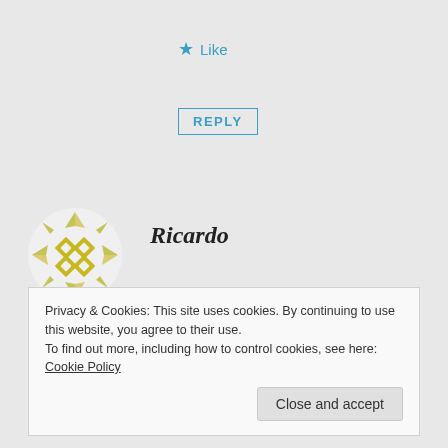★ Like
REPLY
[Figure (illustration): Circular avatar with yellow/olive geometric diamond pattern on white background]
Ricardo
OCTOBER 15, 2014 AT 7:15 AM
Does this work on ubuntu os any linux distribution?
Privacy & Cookies: This site uses cookies. By continuing to use this website, you agree to their use.
To find out more, including how to control cookies, see here: Cookie Policy
Close and accept